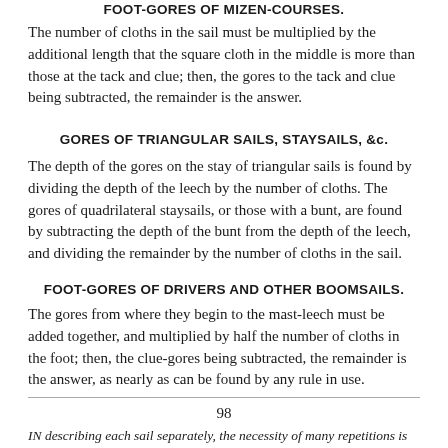FOOT-GORES OF MIZEN-COURSES.
The number of cloths in the sail must be multiplied by the additional length that the square cloth in the middle is more than those at the tack and clue; then, the gores to the tack and clue being subtracted, the remainder is the answer.
GORES OF TRIANGULAR SAILS, STAYSAILS, &c.
The depth of the gores on the stay of triangular sails is found by dividing the depth of the leech by the number of cloths. The gores of quadrilateral staysails, or those with a bunt, are found by subtracting the depth of the bunt from the depth of the leech, and dividing the remainder by the number of cloths in the sail.
FOOT-GORES OF DRIVERS AND OTHER BOOMSAILS.
The gores from where they begin to the mast-leech must be added together, and multiplied by half the number of cloths in the foot; then, the clue-gores being subtracted, the remainder is the answer, as nearly as can be found by any rule in use.
98
IN describing each sail separately, the necessity of many repetitions is